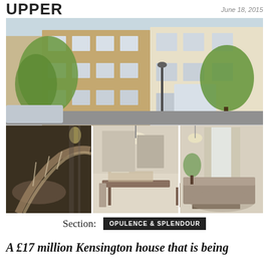UPPER   June 18, 2015
[Figure (photo): Composite photo: top half shows exterior of a large Victorian brick townhouse in Kensington with trees and parked cars; bottom row shows three interior shots including a curved staircase, a dining room, and a living room.]
Section:  OPULENCE & SPLENDOUR
A £17 million Kensington house that is being